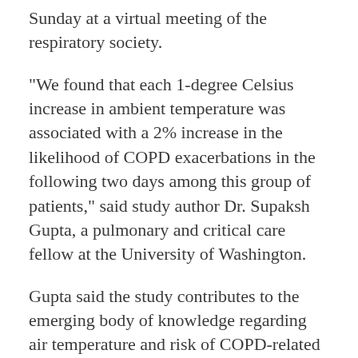Sunday at a virtual meeting of the respiratory society.
"We found that each 1-degree Celsius increase in ambient temperature was associated with a 2% increase in the likelihood of COPD exacerbations in the following two days among this group of patients," said study author Dr. Supaksh Gupta, a pulmonary and critical care fellow at the University of Washington.
Gupta said the study contributes to the emerging body of knowledge regarding air temperature and risk of COPD-related health problems. A major strength of the study is the number of people included, who live in various major U.S. towns and cities, Gupta added.
"Our findings raise concerns about the risk of increased exacerbations with climate change. While not conclusive, the study suggests that those living with COPD may want to avoid exposure to adverse and extreme environmental